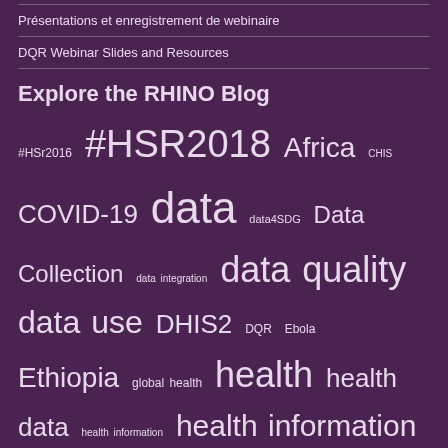Présentations et enregistrement de webinaire
DQR Webinar Slides and Resources
Explore the RHINO Blog
#HSr2016 #HSR2018 Africa CHIS COVID-19 data data4SDG Data Collection data integration data quality data use DHIS2 DQR Ebola Ethiopia global health health health data health information health information system health systems HIS HIV HIV/AIDS ICT informatics interoperability Liberia Madagascar MCSP MDGs MEASURE Meeting RBRHIS RELACSIS RHIS routine health information SDG SDGs supply chain systems approach Tools UCD UN USAID